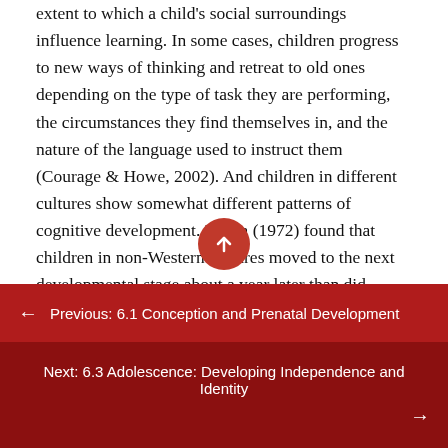extent to which a child's social surroundings influence learning. In some cases, children progress to new ways of thinking and retreat to old ones depending on the type of task they are performing, the circumstances they find themselves in, and the nature of the language used to instruct them (Courage & Howe, 2002). And children in different cultures show somewhat different patterns of cognitive development. Dasen (1972) found that children in non-Western cultures moved to the next developmental stage about a year later than did children from Western cultures, and that level of schooling also influenced cognitive development. In short, Piaget's theory probably understated the contribution of environmental factors to
← Previous: 6.1 Conception and Prenatal Development
Next: 6.3 Adolescence: Developing Independence and Identity →